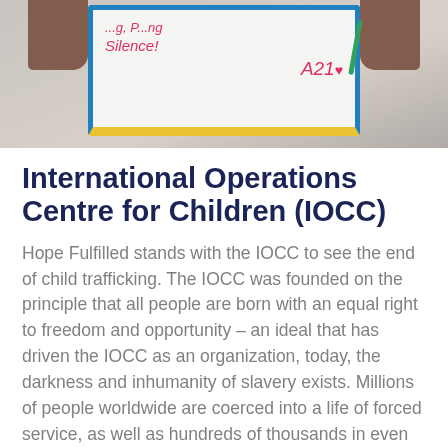[Figure (photo): Person holding a whiteboard/small chalkboard that reads 'Silence!' and 'A21' with a heart, with text partially visible at top. The board has a blue border and yellow base strip. Hands of a dark-skinned person visible on either side.]
International Operations Centre for Children (IOCC)
Hope Fulfilled stands with the IOCC to see the end of child trafficking. The IOCC was founded on the principle that all people are born with an equal right to freedom and opportunity – an ideal that has driven the IOCC as an organization, today, the darkness and inhumanity of slavery exists. Millions of people worldwide are coerced into a life of forced service, as well as hundreds of thousands in even our developed countries. We [obscured] edge that